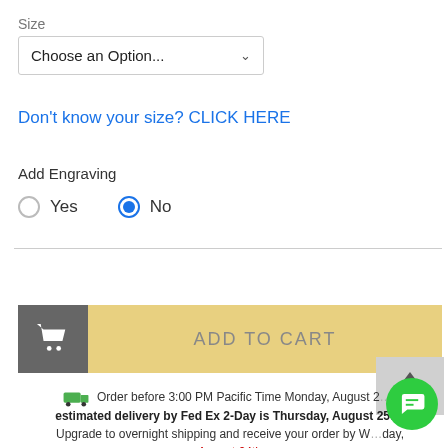Size
Choose an Option...
Don't know your size? CLICK HERE
Add Engraving
Yes  No (radio buttons, No selected)
[Figure (other): Add to Cart button with cart icon on left gray section and tan/gold text area on the right]
Order before 3:00 PM Pacific Time Monday, August 2... and estimated delivery by Fed Ex 2-Day is Thursday, August 25th.. Upgrade to overnight shipping and receive your order by W...day, August 24th